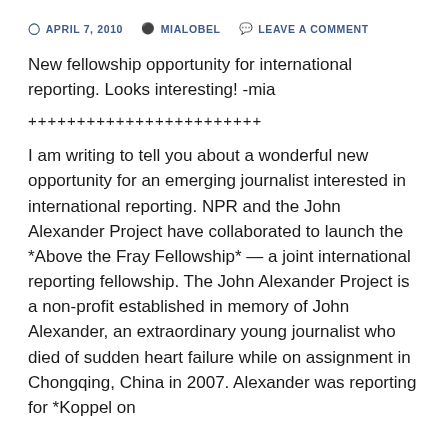APRIL 7, 2010   MIALOBEL   LEAVE A COMMENT
New fellowship opportunity for international reporting. Looks interesting! -mia
++++++++++++++++++++++++
I am writing to tell you about a wonderful new opportunity for an emerging journalist interested in international reporting. NPR and the John Alexander Project have collaborated to launch the *Above the Fray Fellowship* — a joint international reporting fellowship. The John Alexander Project is a non-profit established in memory of John Alexander, an extraordinary young journalist who died of sudden heart failure while on assignment in Chongqing, China in 2007. Alexander was reporting for *Koppel on